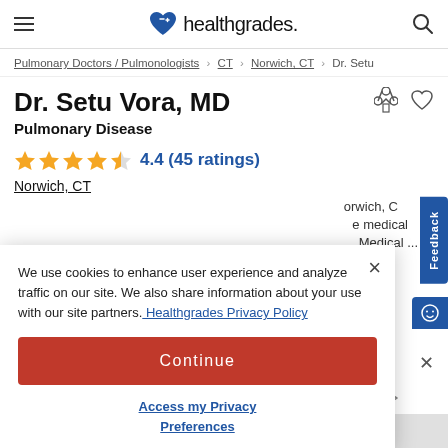healthgrades.
Pulmonary Doctors / Pulmonologists > CT > Norwich, CT > Dr. Setu
Dr. Setu Vora, MD
Pulmonary Disease
4.4 (45 ratings)
Norwich, CT
We use cookies to enhance user experience and analyze traffic on our site. We also share information about your use with our site partners. Healthgrades Privacy Policy
Continue
Access my Privacy Preferences